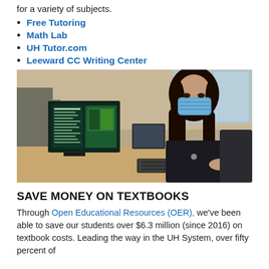for a variety of subjects.
Free Tutoring
Math Lab
UH Tutor.com
Leeward CC Writing Center
[Figure (photo): A student wearing a blue face mask sits at a computer workstation in a cubicle-style lab, looking toward the camera. A monitor displays a green-themed interface. She is using a keyboard.]
SAVE MONEY ON TEXTBOOKS
Through Open Educational Resources (OER), we've been able to save our students over $6.3 million (since 2016) on textbook costs. Leading the way in the UH System, over fifty percent of our courses offer content for free or low cost. More are on the way.